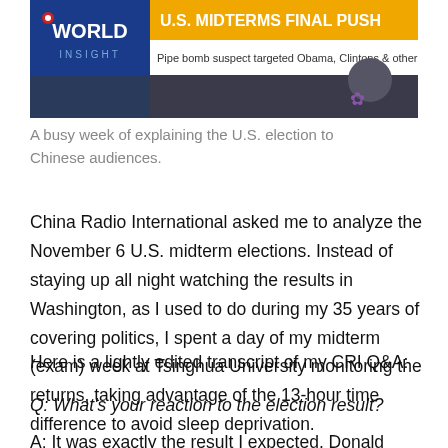[Figure (screenshot): CNN World Insight screenshot showing 'U.S. MIDTERMS FINAL PUSH' headline in orange banner, with sub-headline 'Pipe bomb suspect targeted Obama, Clintons & other D...' and a man visible in the lower right of the image.]
A busy week of explaining the U.S. election to Chinese audiences.
China Radio International asked me to analyze the November 6 U.S. midterm elections. Instead of staying up all night watching the results in Washington, as I used to do during my 35 years of covering politics, I spent a day of my midterm (exam) week at Tsinghua University monitoring the returns, taking advantage of the 13-hour time difference to avoid sleep deprivation.
Here is a lightly edited transcript of my CRI Q&A:
Q: What's your reaction to the election result?
A: It was exactly the result I expected. Donald Trump's